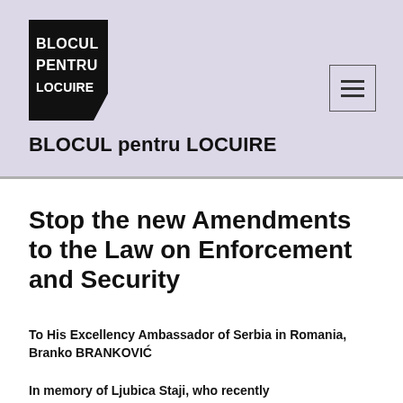[Figure (logo): Blocul pentru Locuire logo — black angular block shape with white text reading BLOCUL PENTRU LOCUIRE]
BLOCUL pentru LOCUIRE
Stop the new Amendments to the Law on Enforcement and Security
To His Excellency Ambassador of Serbia in Romania, Branko BRANKOVIĆ
In memory of Ljubica Staji, who recently